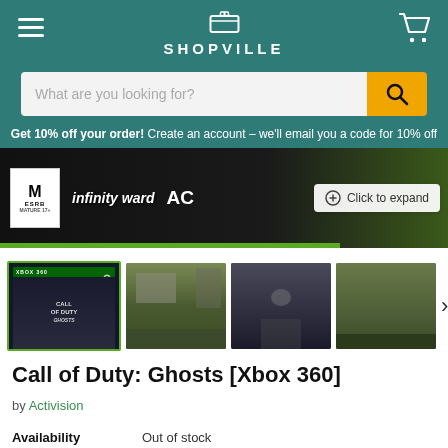SHOPVILLE
What are you looking for?
Get 10% off your order! Create an account – we'll email you a code for 10% off
[Figure (screenshot): Call of Duty Ghosts product main image with ESRB rating badge, Infinity Ward logo, and Activision logo with Click to expand button overlay]
[Figure (photo): Row of four product thumbnails: Call of Duty Ghosts box art, gameplay screenshot of ruins, first-person shooter corridor, and outdoor environment. Arrow to navigate right.]
Call of Duty: Ghosts [Xbox 360]
by Activision
Availability	Out of stock